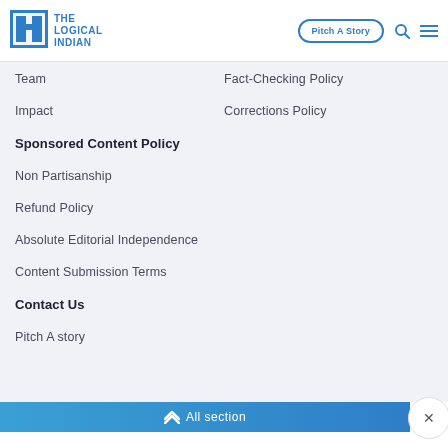[Figure (logo): The Logical Indian logo with blue square icon and blue text]
Team
Fact-Checking Policy
Impact
Corrections Policy
Sponsored Content Policy
Non Partisanship
Refund Policy
Absolute Editorial Independence
Content Submission Terms
Contact Us
Pitch A story
All section